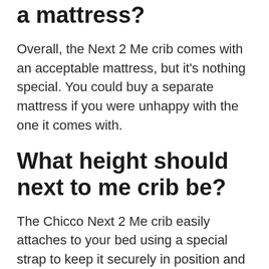a mattress?
Overall, the Next 2 Me crib comes with an acceptable mattress, but it's nothing special. You could buy a separate mattress if you were unhappy with the one it comes with.
What height should next to me crib be?
The Chicco Next 2 Me crib easily attaches to your bed using a special strap to keep it securely in position and is height adjustable between 35-52cm to allow you to adjust it to the correct height of your bed.
...
Next 2 Me Features: